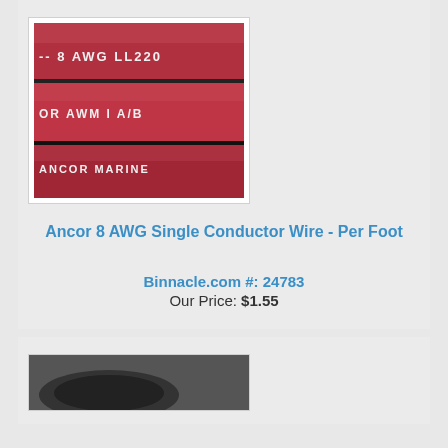[Figure (photo): Red Ancor Marine 8 AWG wire with white text showing '-- 8 AWG LL220', 'OR AWM I A/B', and 'ANCOR MARINE' printed on the insulation]
Ancor 8 AWG Single Conductor Wire - Per Foot
Binnacle.com #: 24783
Our Price: $1.55
[Figure (photo): Partial view of a second product image (black and white, cut off at bottom)]